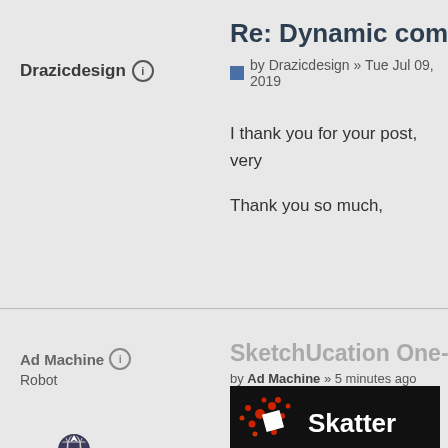Re: Dynamic compone
by Drazicdesign » Tue Jul 09, 2019
Drazicdesign
I thank you for your post, very
Thank you so much,
Ad Machine
Robot
SketchUcation One-Li
by Ad Machine » 5 minutes ago
[Figure (logo): Skatter logo on black background with red dot cluster graphic and white square, white text 'Skatter']